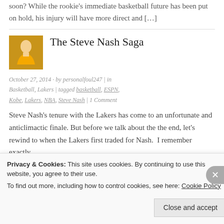soon? While the rookie's immediate basketball future has been put on hold, his injury will have more direct and […]
The Steve Nash Saga
October 27, 2014 · by personalfoul247 | in Basketball, Lakers | tagged basketball, ESPN, Kobe, Lakers, NBA, Steve Nash | 1 Comment
Steve Nash's tenure with the Lakers has come to an unfortunate and anticlimactic finale. But before we talk about the the end, let's rewind to when the Lakers first traded for Nash.  I remember exactly
Privacy & Cookies: This site uses cookies. By continuing to use this website, you agree to their use.
To find out more, including how to control cookies, see here: Cookie Policy